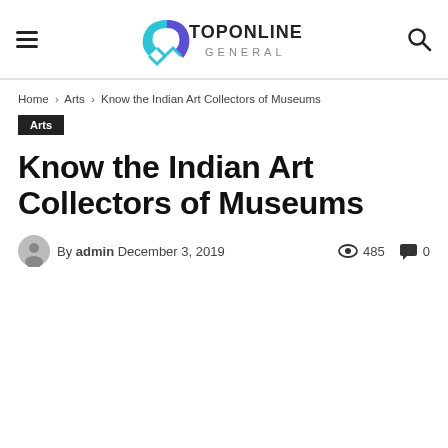TopOnline General — site header with navigation hamburger, logo, and search icon
Home › Arts › Know the Indian Art Collectors of Museums
Arts
Know the Indian Art Collectors of Museums
By admin  December 3, 2019  485  0